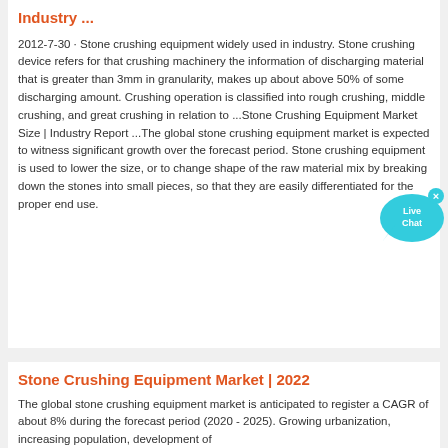Industry ...
2012-7-30 · Stone crushing equipment widely used in industry. Stone crushing device refers for that crushing machinery the information of discharging material that is greater than 3mm in granularity, makes up about above 50% of some discharging amount. Crushing operation is classified into rough crushing, middle crushing, and great crushing in relation to ...Stone Crushing Equipment Market Size | Industry Report ...The global stone crushing equipment market is expected to witness significant growth over the forecast period. Stone crushing equipment is used to lower the size, or to change shape of the raw material mix by breaking down the stones into small pieces, so that they are easily differentiated for the proper end use.
[Figure (other): Live Chat button/bubble widget in cyan/teal color]
Stone Crushing Equipment Market | 2022
The global stone crushing equipment market is anticipated to register a CAGR of about 8% during the forecast period (2020 - 2025). Growing urbanization, increasing population, development of